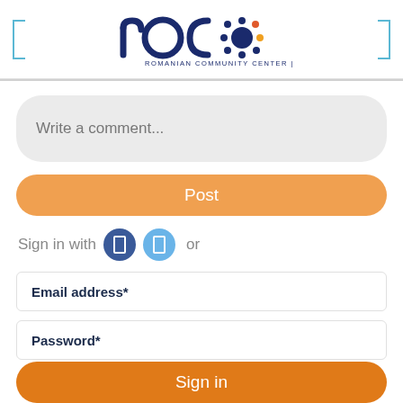[Figure (logo): ROCC Romanian Community Center Chicago logo with stylized letters and colorful dot circle]
Write a comment...
Post
Sign in with [Facebook icon] [Twitter icon] or
Email address*
Password*
Sign in